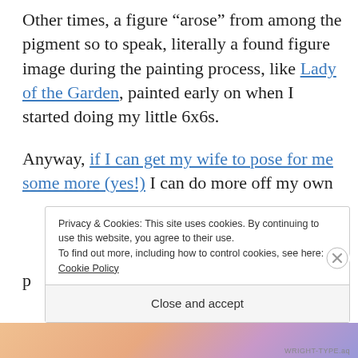Other times, a figure “arose” from among the pigment so to speak, literally a found figure image during the painting process, like Lady of the Garden, painted early on when I started doing my little 6x6s.

Anyway, if I can get my wife to pose for me some more (yes!) I can do more off my own p[artial]
Privacy & Cookies: This site uses cookies. By continuing to use this website, you agree to their use.
To find out more, including how to control cookies, see here: Cookie Policy

Close and accept